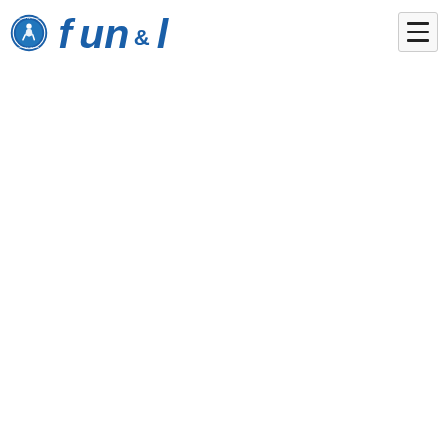[Figure (logo): Fun & I brand logo consisting of a circular blue badge emblem on the left and bold blue stylized text reading 'fun & l' on the right, with a hamburger menu button in the top-right corner]